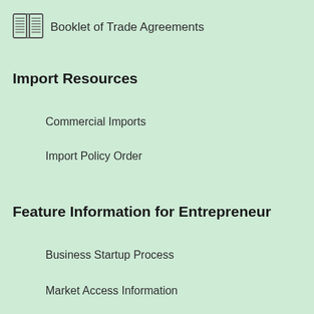Booklet of Trade Agreements
Import Resources
Commercial Imports
Import Policy Order
Feature Information for Entrepreneur
Business Startup Process
Market Access Information